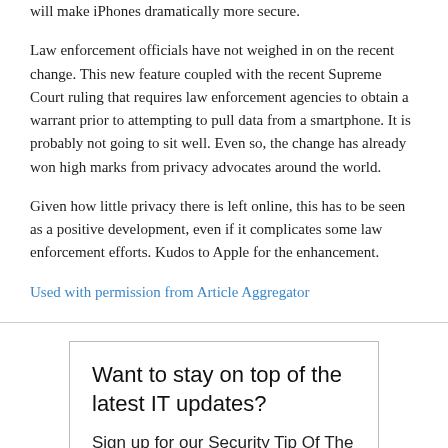will make iPhones dramatically more secure.
Law enforcement officials have not weighed in on the recent change. This new feature coupled with the recent Supreme Court ruling that requires law enforcement agencies to obtain a warrant prior to attempting to pull data from a smartphone. It is probably not going to sit well.  Even so, the change has already won high marks from privacy advocates around the world.
Given how little privacy there is left online, this has to be seen as a positive development, even if it complicates some law enforcement efforts.  Kudos to Apple for the enhancement.
Used with permission from Article Aggregator
Want to stay on top of the latest IT updates?
Sign up for our Security Tip Of The